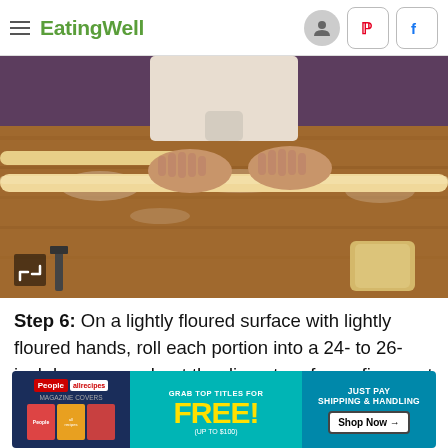EatingWell
[Figure (photo): Hands rolling dough on a floured wooden surface, with a dough scraper and extra dough portions visible]
Step 6: On a lightly floured surface with lightly floured hands, roll each portion into a 24- to 26-inch long rope, about the diameter of your finger. at the co...
[Figure (infographic): Advertisement banner: People and allrecipes magazines offer - Grab top titles for FREE! (up to $100) Just pay shipping & handling. Shop Now arrow button.]